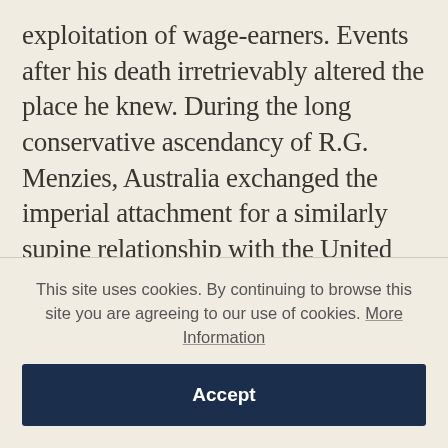exploitation of wage-earners. Events after his death irretrievably altered the place he knew. During the long conservative ascendancy of R.G. Menzies, Australia exchanged the imperial attachment for a similarly supine relationship with the United States. A monoglot White Australia gave way first to assimilation and subsequently to multiculturalism as the declared national objective. Market regulation and public provision yielded in the economic climate of the Seventies and Eighties to free trade, deregulation
This site uses cookies. By continuing to browse this site you are agreeing to our use of cookies. More Information
Accept